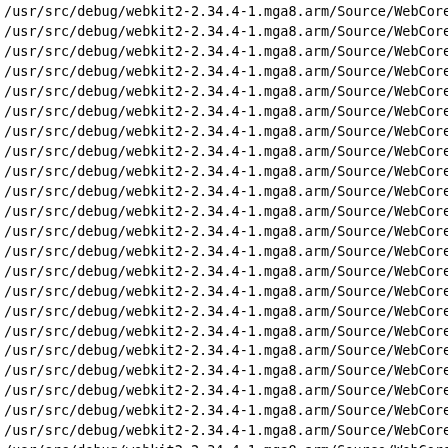/usr/src/debug/webkit2-2.34.4-1.mga8.arm/Source/WebCore/
/usr/src/debug/webkit2-2.34.4-1.mga8.arm/Source/WebCore/
/usr/src/debug/webkit2-2.34.4-1.mga8.arm/Source/WebCore/
/usr/src/debug/webkit2-2.34.4-1.mga8.arm/Source/WebCore/
/usr/src/debug/webkit2-2.34.4-1.mga8.arm/Source/WebCore/
/usr/src/debug/webkit2-2.34.4-1.mga8.arm/Source/WebCore/
/usr/src/debug/webkit2-2.34.4-1.mga8.arm/Source/WebCore/
/usr/src/debug/webkit2-2.34.4-1.mga8.arm/Source/WebCore/
/usr/src/debug/webkit2-2.34.4-1.mga8.arm/Source/WebCore/
/usr/src/debug/webkit2-2.34.4-1.mga8.arm/Source/WebCore/
/usr/src/debug/webkit2-2.34.4-1.mga8.arm/Source/WebCore/
/usr/src/debug/webkit2-2.34.4-1.mga8.arm/Source/WebCore/
/usr/src/debug/webkit2-2.34.4-1.mga8.arm/Source/WebCore/
/usr/src/debug/webkit2-2.34.4-1.mga8.arm/Source/WebCore/
/usr/src/debug/webkit2-2.34.4-1.mga8.arm/Source/WebCore/
/usr/src/debug/webkit2-2.34.4-1.mga8.arm/Source/WebCore/
/usr/src/debug/webkit2-2.34.4-1.mga8.arm/Source/WebCore/
/usr/src/debug/webkit2-2.34.4-1.mga8.arm/Source/WebCore/
/usr/src/debug/webkit2-2.34.4-1.mga8.arm/Source/WebCore/
/usr/src/debug/webkit2-2.34.4-1.mga8.arm/Source/WebCore/
/usr/src/debug/webkit2-2.34.4-1.mga8.arm/Source/WebCore/
/usr/src/debug/webkit2-2.34.4-1.mga8.arm/Source/WebCore/
/usr/src/debug/webkit2-2.34.4-1.mga8.arm/Source/WebCore/
/usr/src/debug/webkit2-2.34.4-1.mga8.arm/Source/WebCore/
/usr/src/debug/webkit2-2.34.4-1.mga8.arm/Source/WebCore/
/usr/src/debug/webkit2-2.34.4-1.mga8.arm/Source/WebCore/
/usr/src/debug/webkit2-2.34.4-1.mga8.arm/Source/WebCore/
/usr/src/debug/webkit2-2.34.4-1.mga8.arm/Source/WebCore/
/usr/src/debug/webkit2-2.34.4-1.mga8.arm/Source/WebCore/
/usr/src/debug/webkit2-2.34.4-1.mga8.arm/Source/WebCore/